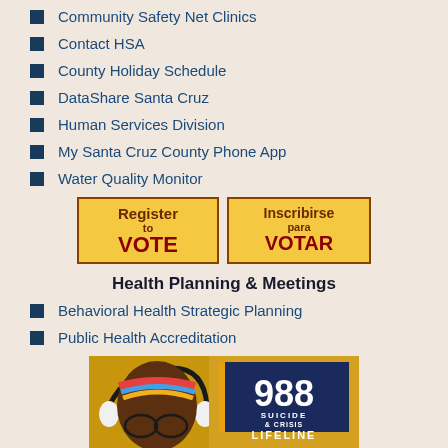Community Safety Net Clinics
Contact HSA
County Holiday Schedule
DataShare Santa Cruz
Human Services Division
My Santa Cruz County Phone App
Water Quality Monitor
[Figure (infographic): Two yellow buttons side by side: 'Register to VOTE' and 'Inscribirse para VOTAR']
Health Planning & Meetings
Behavioral Health Strategic Planning
Public Health Accreditation
[Figure (infographic): 988 Suicide & Crisis Lifeline banner with a person wearing headphones on a yellow/gold background. Text reads: '988 SUICIDE & CRISIS LIFELINE - If you or someone you know']